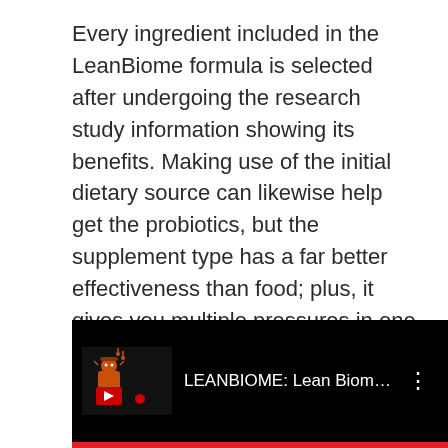Every ingredient included in the LeanBiome formula is selected after undergoing the research study information showing its benefits. Making use of the initial dietary source can likewise help get the probiotics, but the supplement type has a far better effectiveness than food; plus, it gives you multiple pressures in one small pill, and you do not have to eat a great deal of probiotics abundant foods daily. It is a vegan/vegetarian-friendly item, devoid of nuts, soy, dairy, BPAs, and genetically changed ingredients.
[Figure (screenshot): YouTube video thumbnail showing LEANBIOME: Lean Biome Revie... with a channel icon and three-dot menu on a black background with a red progress bar at the bottom.]